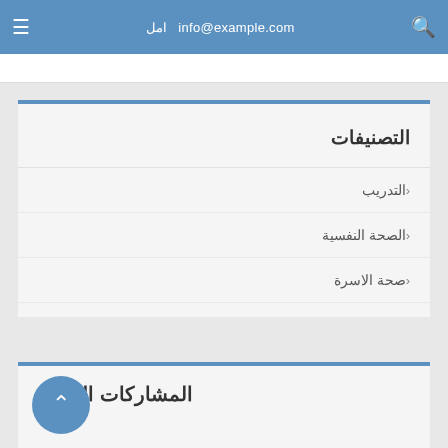امل  info@example.com
التصنيفات
التدريب
الصحة النفسية
صحة الاسرة
المشاركات الاخيرة